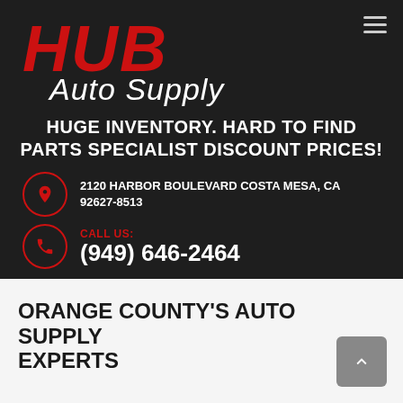[Figure (logo): HUB Auto Supply logo with red bold italic HUB text and white cursive Auto Supply text on dark background]
HUGE INVENTORY. HARD TO FIND PARTS SPECIALIST DISCOUNT PRICES!
2120 HARBOR BOULEVARD COSTA MESA, CA 92627-8513
CALL US: (949) 646-2464
ORANGE COUNTY'S AUTO SUPPLY EXPERTS